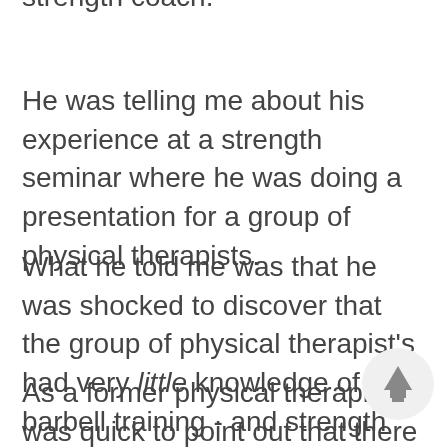strength coach.
He was telling me about his experience at a strength seminar where he was doing a presentation for a group of physical therapists.
What he told me was that he was shocked to discover that the group of physical therapist's had very little knowledge of barbell training - and strength training in general, for that matter.
As a former physical therapist, I was quick to point out that there was indeed an